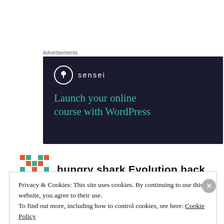Advertisements
[Figure (illustration): Sensei advertisement banner with dark navy background showing the Sensei logo (circle with tree icon and 'sensei' text) and the tagline 'Launch your online course with WordPress' in teal/green color.]
hungry shark Evolution hack
Privacy & Cookies: This site uses cookies. By continuing to use this website, you agree to their use.
To find out more, including how to control cookies, see here: Cookie Policy
Close and accept